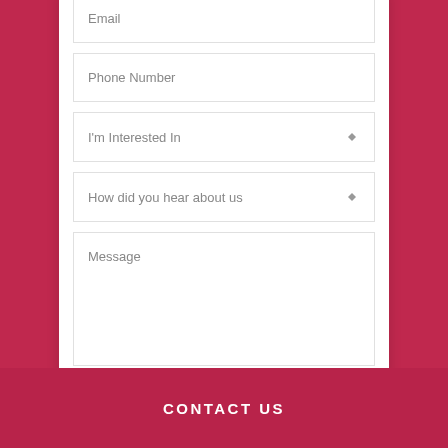Email
Phone Number
I'm Interested In
How did you hear about us
Message
CONTACT US